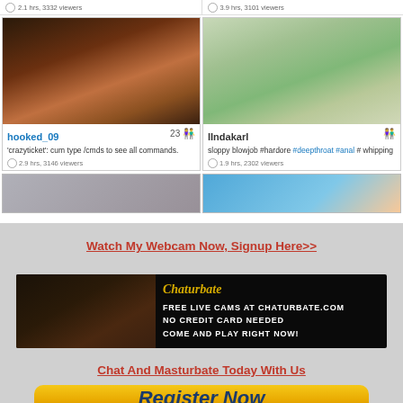[Figure (screenshot): Webcam site grid showing two stream cards: hooked_09 (23 viewers icon, '2.9 hrs, 3146 viewers') and lindakarl ('1.9 hrs, 2302 viewers'), plus partial cards below. Top bar shows '2.1 hrs, 3332 viewers' and '3.9 hrs, 3101 viewers'.]
Watch My Webcam Now, Signup Here>>
[Figure (illustration): Chaturbate banner ad: FREE LIVE CAMS AT CHATURBATE.COM / NO CREDIT CARD NEEDED / COME AND PLAY RIGHT NOW!]
Chat And Masturbate Today With Us
[Figure (illustration): Yellow 'Register Now' button]